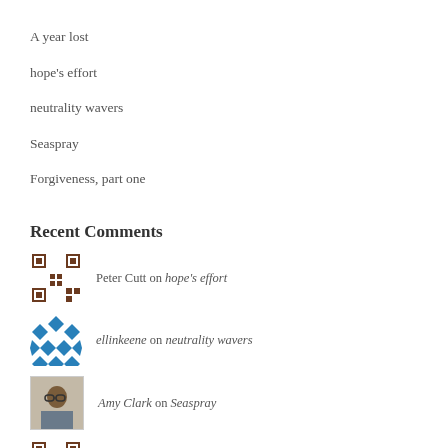A year lost
hope's effort
neutrality wavers
Seaspray
Forgiveness, part one
Recent Comments
Peter Cutt on hope's effort
ellinkeene on neutrality wavers
Amy Clark on Seaspray
PETER CUTT on Seaspray